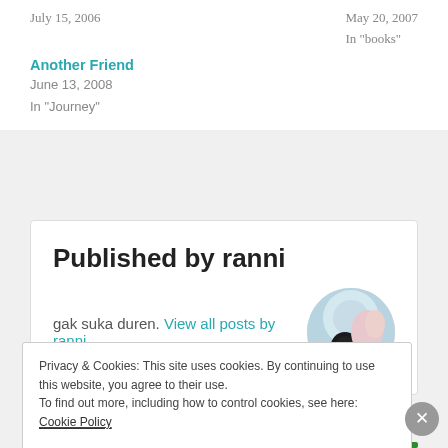July 15, 2006
May 20, 2007
In "books"
Another Friend
June 13, 2008
In "Journey"
Published by ranni
gak suka duren. View all posts by ranni
Privacy & Cookies: This site uses cookies. By continuing to use this website, you agree to their use.
To find out more, including how to control cookies, see here: Cookie Policy
Close and accept